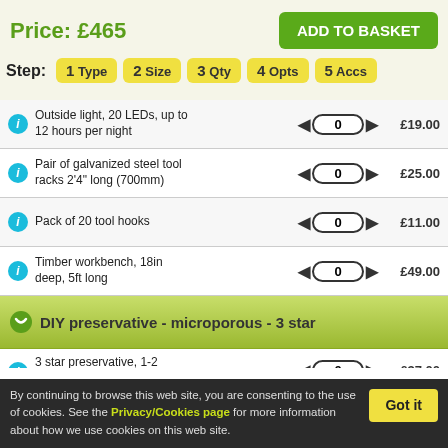Price: £465
ADD TO BASKET
Step: 1 Type  2 Size  3 Qty  4 Opts  5 Accs
Outside light, 20 LEDs, up to 12 hours per night — 0 — £19.00
Pair of galvanized steel tool racks 2'4" long (700mm) — 0 — £25.00
Pack of 20 tool hooks — 0 — £11.00
Timber workbench, 18in deep, 5ft long — 0 — £49.00
DIY preservative - microporous - 3 star
3 star preservative, 1-2 years, 10 litres — 0 — £37.00
Select Colour ▼
By continuing to browse this web site, you are consenting to the use of cookies. See the Privacy/Cookies page for more information about how we use cookies on this web site.